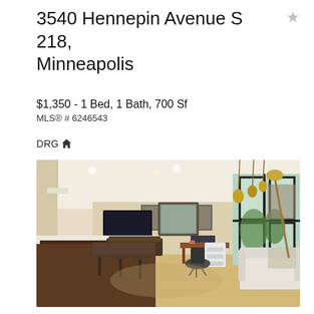3540 Hennepin Avenue S 218, Minneapolis
$1,350 - 1 Bed, 1 Bath, 700 Sf
MLS® # 6246543
DRG🏠
[Figure (photo): Interior photo of a modern apartment living/dining area with hardwood floors, kitchen island with dark wood cabinetry, bar stools, TV mounted on wall, office desk, ergonomic chair, white armchair, and large floor-to-ceiling windows showing greenery outside. Gold pendant lights visible in background.]